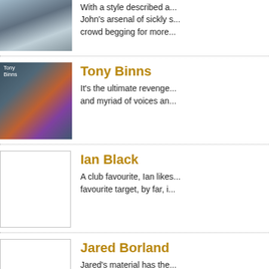[Figure (photo): Partial photo of a person at the top of the page, cut off]
With a style described a... John's arsenal of sickly s... crowd begging for more...
[Figure (photo): Photo of Tony Binns, a man in a floral shirt reading a book]
Tony Binns
It's the ultimate revenge... and myriad of voices an...
[Figure (photo): Empty/placeholder image box for Ian Black]
Ian Black
A club favourite, Ian likes... favourite target, by far, i...
[Figure (photo): Empty/placeholder image box for Jared Borland]
Jared Borland
Jared's material has the... downright perverted or...
[Figure (photo): Empty/placeholder image box for Sebastien Bourgau]
Sebastien Bourgau
Sebastien recently start... than 1000 performance...